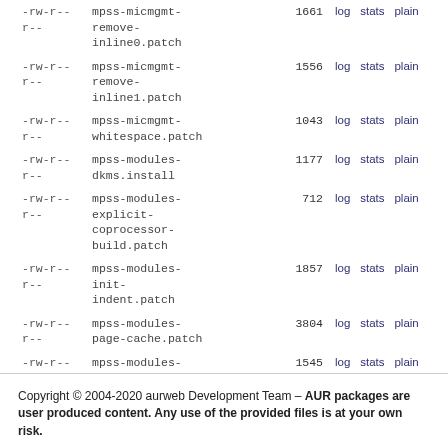| perms | filename | size | actions |
| --- | --- | --- | --- |
| -rw-r--r-- | mpss-micmgmt-remove-inline0.patch | 1661 | log stats plain |
| -rw-r--r-- | mpss-micmgmt-remove-inline1.patch | 1556 | log stats plain |
| -rw-r--r-- | mpss-micmgmt-whitespace.patch | 1043 | log stats plain |
| -rw-r--r-- | mpss-modules-dkms.install | 1177 | log stats plain |
| -rw-r--r-- | mpss-modules-explicit-coprocessor-build.patch | 712 | log stats plain |
| -rw-r--r-- | mpss-modules-init-indent.patch | 1857 | log stats plain |
| -rw-r--r-- | mpss-modules-page-cache.patch | 3804 | log stats plain |
| -rw-r--r-- | mpss-modules-rcu-lockup.patch | 1545 | log stats plain |
Copyright © 2004-2020 aurweb Development Team – AUR packages are user produced content. Any use of the provided files is at your own risk.